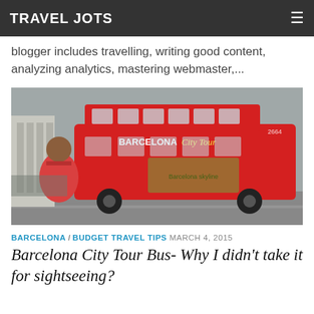TRAVEL JOTS
blogger includes travelling, writing good content, analyzing analytics, mastering webmaster,...
[Figure (photo): A woman in a red sleeveless top stands in front of a red Barcelona City Tour double-decker bus on a city street.]
BARCELONA / BUDGET TRAVEL TIPS  MARCH 4, 2015
Barcelona City Tour Bus- Why I didn't take it for sightseeing?